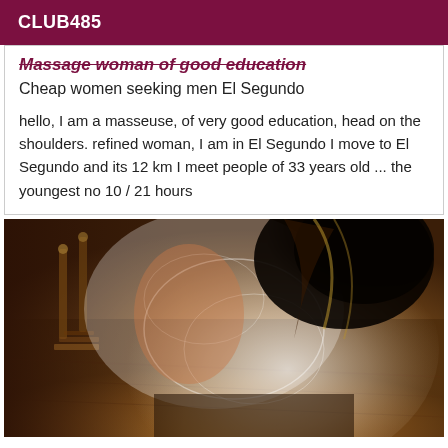CLUB485
Massage woman of good education
Cheap women seeking men El Segundo
hello, I am a masseuse, of very good education, head on the shoulders. refined woman, I am in El Segundo I move to El Segundo and its 12 km I meet people of 33 years old ... the youngest no 10 / 21 hours
[Figure (photo): A woman with dark hair wearing a white lace garment, photographed from behind/side in an indoor setting with wooden flooring.]